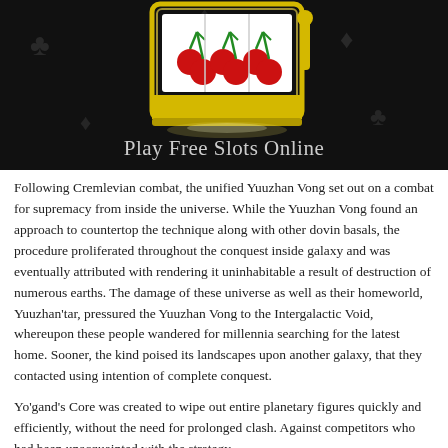[Figure (illustration): Dark background image of a slot machine showing three cherries, with glowing yellow border. Text overlay reads 'Play Free Slots Online'. Card suit symbols (clubs/diamonds) are faintly visible in background.]
Following Cremlevian combat, the unified Yuuzhan Vong set out on a combat for supremacy from inside the universe. While the Yuuzhan Vong found an approach to countertop the technique along with other dovin basals, the procedure proliferated throughout the conquest inside galaxy and was eventually attributed with rendering it uninhabitable a result of destruction of numerous earths. The damage of these universe as well as their homeworld, Yuuzhan'tar, pressured the Yuuzhan Vong to the Intergalactic Void, whereupon these people wandered for millennia searching for the latest home. Sooner, the kind poised its landscapes upon another galaxy, that they contacted using intention of complete conquest.
Yo'gand's Core was created to wipe out entire planetary figures quickly and efficiently, without the need for prolonged clash. Against competitors who had been unacquainted with the strategy,